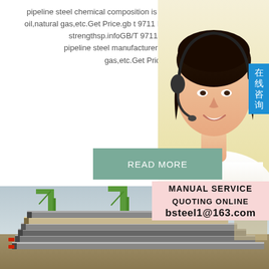pipeline steel chemical composition is mainly used to transport oil,natural gas,etc.Get Price.gb t 9711 l360 pipeline steel tensile strengthsp.infoGB/T 9711 LSAW steel pipeline steel manufacturer is mainly use gas,etc.Get Price
[Figure (photo): Woman with headset smiling, customer service representative, with Chinese text badge '在线咨询' (online consultation) on right side]
[Figure (other): READ MORE button in teal/green color]
[Figure (infographic): Service box with MANUAL SERVICE, QUOTING ONLINE, bsteel1@163.com on pink background]
[Figure (photo): Industrial photo showing stacked steel plates with green cranes in background at a port/shipyard]